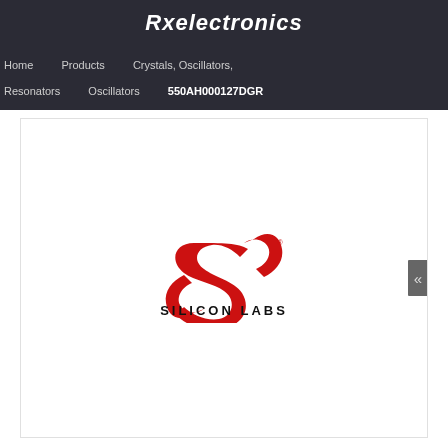Rxelectronics
Home  Products  Crystals, Oscillators, Resonators  Oscillators  550AH000127DGR
[Figure (logo): Silicon Labs logo: red stylized S swoosh shape with SILICON LABS text below in black]